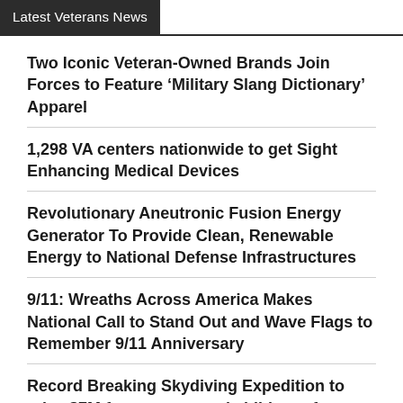Latest Veterans News
Two Iconic Veteran-Owned Brands Join Forces to Feature ‘Military Slang Dictionary’ Apparel
1,298 VA centers nationwide to get Sight Enhancing Medical Devices
Revolutionary Aneutronic Fusion Energy Generator To Provide Clean, Renewable Energy to National Defense Infrastructures
9/11: Wreaths Across America Makes National Call to Stand Out and Wave Flags to Remember 9/11 Anniversary
Record Breaking Skydiving Expedition to raise $7M for spouses and children of service members